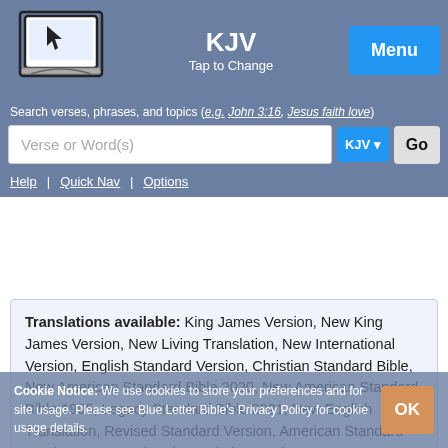[Figure (screenshot): Bible app logo: laptop with open book]
KJV
Tap to Change
Menu
Search verses, phrases, and topics (e.g. John 3:16, Jesus faith love)
Verse or Word(s)
KJV ▾
Go
Help | Quick Nav | Options
Translations available: King James Version, New King James Version, New Living Translation, New International Version, English Standard Version, Christian Standard Bible, New American Standard Bible 2020, New American Standard Bible 1995, Legacy Standard Bible 2021, New English Translation, Revised Standard Version, American Standard Version, Young's Literal Translation, Darby
Cookie Notice: We use cookies to store your preferences and for site usage. Please see Blue Letter Bible's Privacy Policy for cookie usage details.
OK